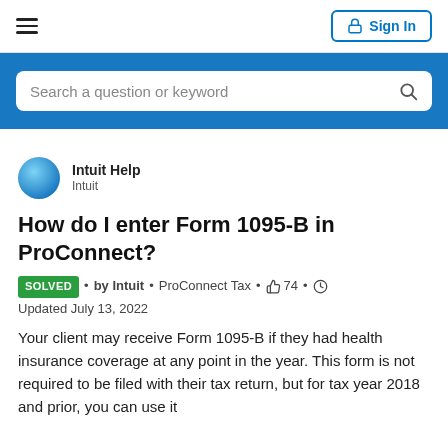Sign In
[Figure (screenshot): Search bar with placeholder text 'Search a question or keyword' on a blue background]
Intuit Help
Intuit
How do I enter Form 1095-B in ProConnect?
SOLVED • by Intuit • ProConnect Tax • 74 • Updated July 13, 2022
Your client may receive Form 1095-B if they had health insurance coverage at any point in the year. This form is not required to be filed with their tax return, but for tax year 2018 and prior, you can use it